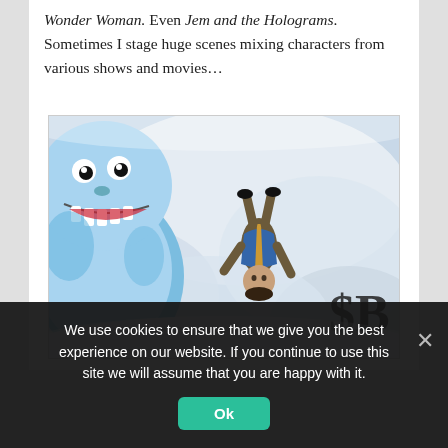Wonder Woman. Even Jem and the Holograms. Sometimes I stage huge scenes mixing characters from various shows and movies…
[Figure (photo): A photo showing a blue yeti/abominable snowman character with sharp teeth on the left, and a person falling or doing a flip in the center, set against a snowy/misty background. A dollar-sign-like symbol appears in the lower right.]
We use cookies to ensure that we give you the best experience on our website. If you continue to use this site we will assume that you are happy with it.